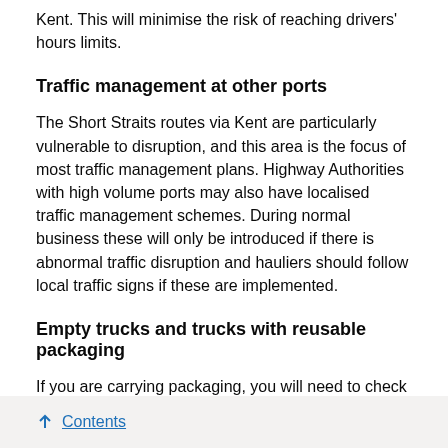Kent. This will minimise the risk of reaching drivers' hours limits.
Traffic management at other ports
The Short Straits routes via Kent are particularly vulnerable to disruption, and this area is the focus of most traffic management plans. Highway Authorities with high volume ports may also have localised traffic management schemes. During normal business these will only be introduced if there is abnormal traffic disruption and hauliers should follow local traffic signs if these are implemented.
Empty trucks and trucks with reusable packaging
If you are carrying packaging, you will need to check with the importer and/or exporter:
whether it meets the reusable packaging criteria
↑ Contents